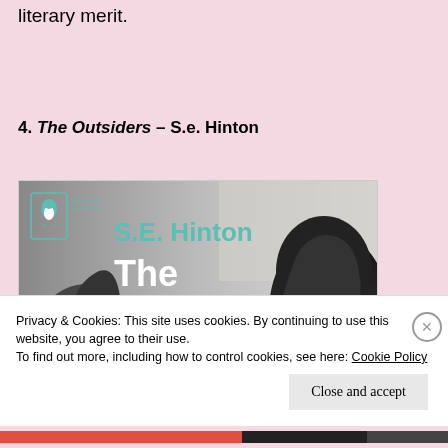literary merit.
4. The Outsiders – S.e. Hinton
[Figure (photo): Book cover of 'The Outsiders' by S.E. Hinton, Penguin Modern Classics edition. Shows two figures with dark hair on a grey background with teal text for author name and white text for title.]
Privacy & Cookies: This site uses cookies. By continuing to use this website, you agree to their use.
To find out more, including how to control cookies, see here: Cookie Policy